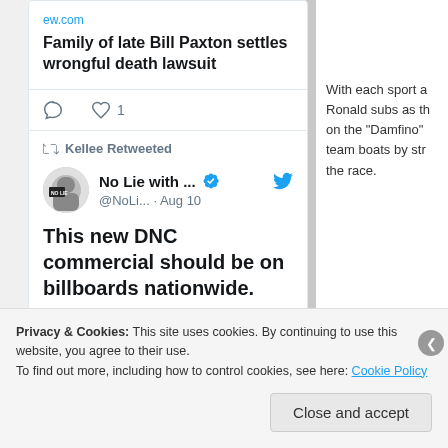[Figure (screenshot): Tweet card showing a link preview for 'Family of late Bill Paxton settles wrongful death lawsuit' from ew.com, with comment and like (1) action icons, followed by a retweet by Kellee from 'No Lie with ...' (@NoLi...) on Aug 10: 'This new DNC commercial should be on billboards nationwide.' with a video/image strip at the bottom.]
With each sport a Ronald subs as th on the "Damfino" team boats by str the race.
Privacy & Cookies: This site uses cookies. By continuing to use this website, you agree to their use.
To find out more, including how to control cookies, see here: Cookie Policy
Close and accept